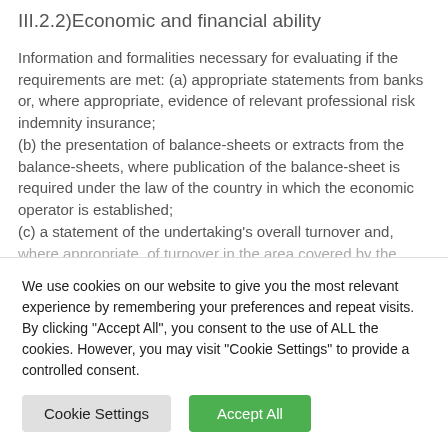III.2.2)Economic and financial ability
Information and formalities necessary for evaluating if the requirements are met: (a) appropriate statements from banks or, where appropriate, evidence of relevant professional risk indemnity insurance;
(b) the presentation of balance-sheets or extracts from the balance-sheets, where publication of the balance-sheet is required under the law of the country in which the economic operator is established;
(c) a statement of the undertaking’s overall turnover and, where appropriate, of turnover in the area covered by the
We use cookies on our website to give you the most relevant experience by remembering your preferences and repeat visits. By clicking “Accept All”, you consent to the use of ALL the cookies. However, you may visit “Cookie Settings” to provide a controlled consent.